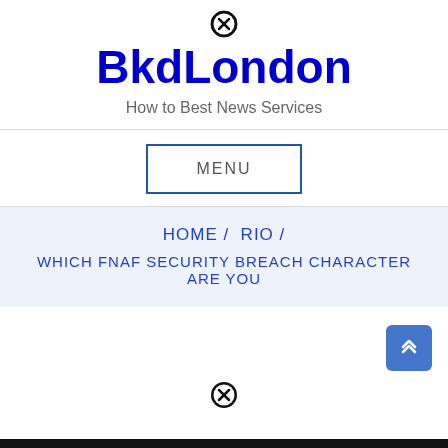[Figure (other): Close/dismiss circle icon (X in circle) at top center]
BkdLondon
How to Best News Services
MENU
HOME /  RIO /  WHICH FNAF SECURITY BREACH CHARACTER ARE YOU
[Figure (other): Scroll-to-top button with double chevron up arrow, blue rounded rectangle]
[Figure (other): Close/dismiss circle icon (X in circle) above bottom image]
[Figure (photo): Partial dark image visible at the bottom of the page]